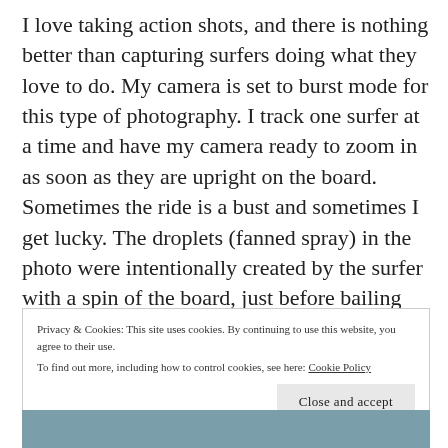I love taking action shots, and there is nothing better than capturing surfers doing what they love to do. My camera is set to burst mode for this type of photography. I track one surfer at a time and have my camera ready to zoom in as soon as they are upright on the board. Sometimes the ride is a bust and sometimes I get lucky. The droplets (fanned spray) in the photo were intentionally created by the surfer with a spin of the board, just before bailing out.
Privacy & Cookies: This site uses cookies. By continuing to use this website, you agree to their use. To find out more, including how to control cookies, see here: Cookie Policy
[Figure (photo): Bottom strip of a surf/ocean photo partially visible at the bottom of the page]